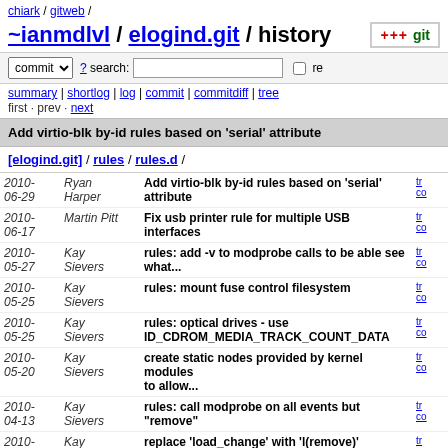chiark / gitweb /
~ianmdlvl / elogind.git / history
commit ? search: re
summary | shortlog | log | commit | commitdiff | tree
first · prev · next
Add virtio-blk by-id rules based on 'serial' attribute
[elogind.git] / rules / rules.d /
| Date | Author | Message | Links |
| --- | --- | --- | --- |
| 2010-06-29 | Ryan Harper | Add virtio-blk by-id rules based on 'serial' attribute | tr co |
| 2010-06-17 | Martin Pitt | Fix usb printer rule for multiple USB interfaces | tr co |
| 2010-05-27 | Kay Sievers | rules: add -v to modprobe calls to be able see what... | tr co |
| 2010-05-25 | Kay Sievers | rules: mount fuse control filesystem | tr co |
| 2010-05-25 | Kay Sievers | rules: optical drives - use ID_CDROM_MEDIA_TRACK_COUNT_DATA | tr co |
| 2010-05-20 | Kay Sievers | create static nodes provided by kernel modules to allow... | tr co |
| 2010-04-13 | Kay Sievers | rules: call modprobe on all events but "remove" | tr co |
| 2010-... | Kay | replace 'load_change' with 'l(remove)' | tr co |